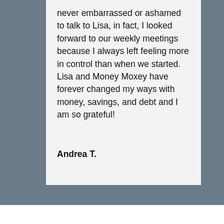never embarrassed or ashamed to talk to Lisa, in fact, I looked forward to our weekly meetings because I always left feeling more in control than when we started. Lisa and Money Moxey have forever changed my ways with money, savings, and debt and I am so grateful!
Andrea T.